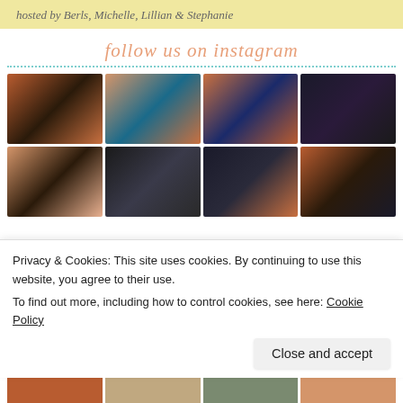hosted by Berls, Michelle, Lillian & Stephanie
follow us on instagram
[Figure (photo): 2x4 grid of Instagram photos showing books with autumn leaves backgrounds, e-readers, and book covers]
Privacy & Cookies: This site uses cookies. By continuing to use this website, you agree to their use.
To find out more, including how to control cookies, see here: Cookie Policy
Close and accept